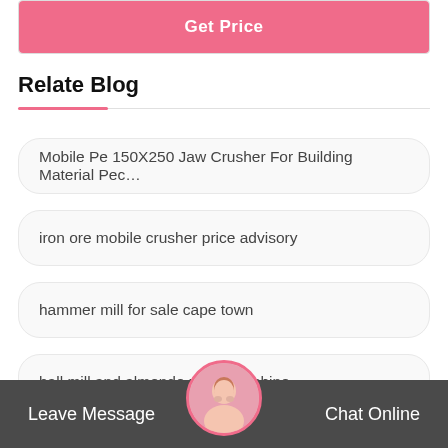[Figure (other): Get Price button bar at the top]
Relate Blog
Mobile Pe 150X250 Jaw Crusher For Building Material Pec…
iron ore mobile crusher price advisory
hammer mill for sale cape town
ball mill and almonde xtract machine
defination of rotary dryer c…ure com
Leave Message   Chat Online